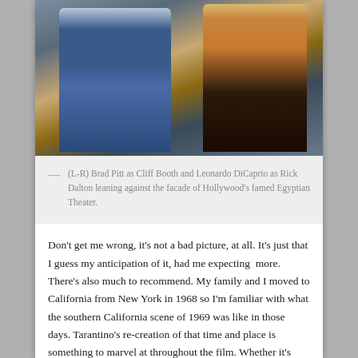[Figure (photo): Photo of two men standing against a stone facade. Left man wears a blue denim jacket and sunglasses (Brad Pitt as Cliff Booth). Right man wears an orange/tan leather jacket and yellow turtleneck (Leonardo DiCaprio as Rick Dalton).]
— (L-R) Brad Pitt as Cliff Booth and Leonardo DiCaprio as Rick Dalton leaning against the facade of Hollywood's famed Egyptian Theater.
Don't get me wrong, it's not a bad picture, at all. It's just that I guess my anticipation of it, had me expecting  more. There's also much to recommend. My family and I moved to California from New York in 1968 so I'm familiar with what the southern California scene of 1969 was like in those days. Tarantino's re-creation of that time and place is something to marvel at throughout the film. Whether it's